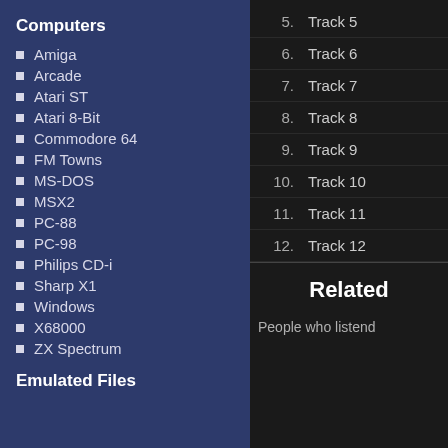Computers
Amiga
Arcade
Atari ST
Atari 8-Bit
Commodore 64
FM Towns
MS-DOS
MSX2
PC-88
PC-98
Philips CD-i
Sharp X1
Windows
X68000
ZX Spectrum
Emulated Files
5.  Track 5
6.  Track 6
7.  Track 7
8.  Track 8
9.  Track 9
10. Track 10
11. Track 11
12. Track 12
Related
People who listend